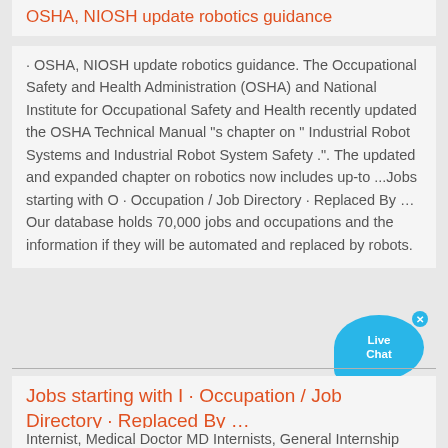OSHA, NIOSH update robotics guidance
· OSHA, NIOSH update robotics guidance. The Occupational Safety and Health Administration (OSHA) and National Institute for Occupational Safety and Health recently updated the OSHA Technical Manual "s chapter on " Industrial Robot Systems and Industrial Robot System Safety .". The updated and expanded chapter on robotics now includes up-to ...Jobs starting with O · Occupation / Job Directory · Replaced By …Our database holds 70,000 jobs and occupations and the information if they will be automated and replaced by robots.
[Figure (infographic): Live Chat bubble widget with close button, cyan/blue color]
Jobs starting with I · Occupation / Job Directory · Replaced By …
Internist, Medical Doctor MD Internists, General Internship Coordinator Interpersonal Communications Professor Interpreter